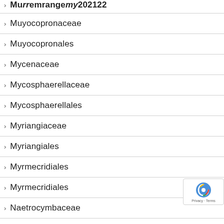Muyocopronaceae
Muyocopronales
Mycenaceae
Mycosphaerellaceae
Mycosphaerellales
Myriangiaceae
Myriangiales
Myrmecridiales
Myrmecridiales
Naetrocymbaceae
Natipusillaceae